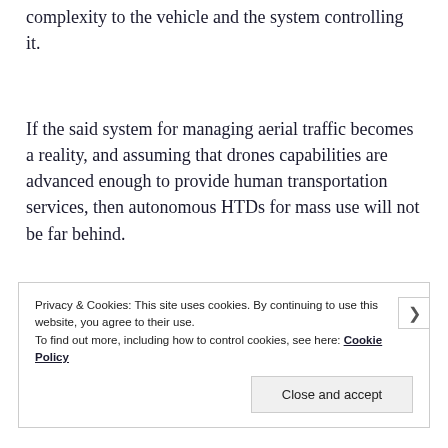complexity to the vehicle and the system controlling it.
If the said system for managing aerial traffic becomes a reality, and assuming that drones capabilities are advanced enough to provide human transportation services, then autonomous HTDs for mass use will not be far behind.
Privacy & Cookies: This site uses cookies. By continuing to use this website, you agree to their use.
To find out more, including how to control cookies, see here: Cookie Policy